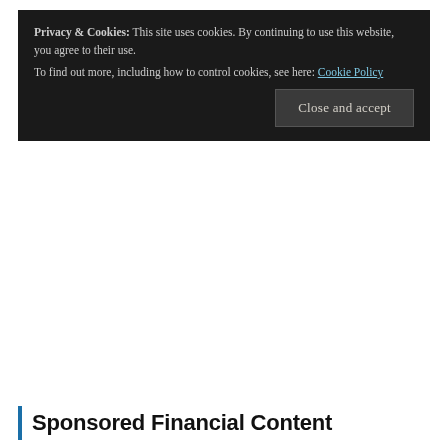Privacy & Cookies: This site uses cookies. By continuing to use this website, you agree to their use.
To find out more, including how to control cookies, see here: Cookie Policy
Close and accept
Sponsored Financial Content